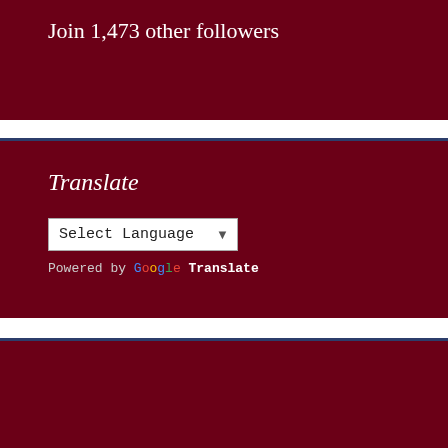Join 1,473 other followers
Translate
[Figure (screenshot): Google Translate widget with 'Select Language' dropdown]
Privacy & Cookies: This site uses cookies. By continuing to use this website, you agree to their use. To find out more, including how to control cookies, see here: Cookie Policy
Close and accept